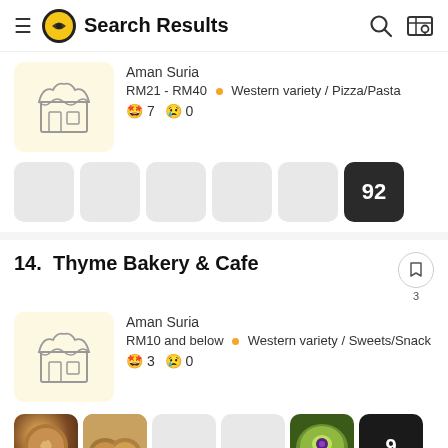Search Results
Aman Suria
RM21 - RM40 • Western variety / Pizza/Pasta
😋 7  😢 0
[Figure (screenshot): Photo strip with 5 grey placeholder boxes and one dark box showing '92']
14.  Thyme Bakery & Cafe
Aman Suria
RM10 and below • Western variety / Sweets/Snack
😋 3  😢 0
[Figure (screenshot): Photo strip: coffee latte art photo, bread photo, 2 grey placeholders, matcha tart photo, dark box showing '9']